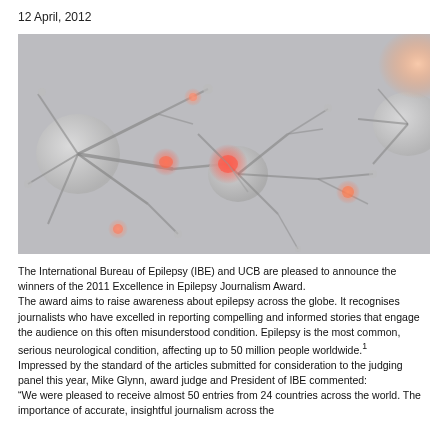12 April, 2012
[Figure (photo): Close-up illustration of neurons with glowing red/orange synaptic connections against a grey background, depicting neural activity related to epilepsy.]
The International Bureau of Epilepsy (IBE) and UCB are pleased to announce the winners of the 2011 Excellence in Epilepsy Journalism Award.
The award aims to raise awareness about epilepsy across the globe. It recognises journalists who have excelled in reporting compelling and informed stories that engage the audience on this often misunderstood condition. Epilepsy is the most common, serious neurological condition, affecting up to 50 million people worldwide.1
Impressed by the standard of the articles submitted for consideration to the judging panel this year, Mike Glynn, award judge and President of IBE commented:
“We were pleased to receive almost 50 entries from 24 countries across the world. The importance of accurate, insightful journalism across the